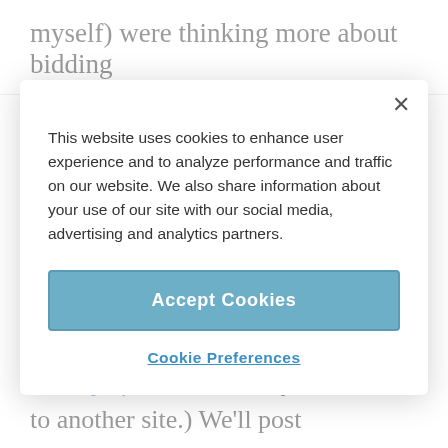myself) were thinking more about bidding
×
This website uses cookies to enhance user experience and to analyze performance and traffic on our website. We also share information about your use of our site with our social media, advertising and analytics partners.
Accept Cookies
Cookie Preferences
Let us know what you're thinking by filling out our brief four-question survey. (You'll be briefly redirected to another site.) We'll post